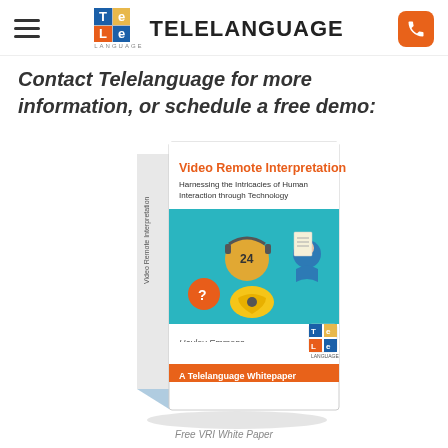TELELANGUAGE
Contact Telelanguage for more information, or schedule a free demo:
[Figure (photo): 3D book cover: 'Video Remote Interpretation – Harnessing the Intricacies of Human Interaction through Technology' by Hayley Emmons, A Telelanguage Whitepaper]
Free VRI White Paper